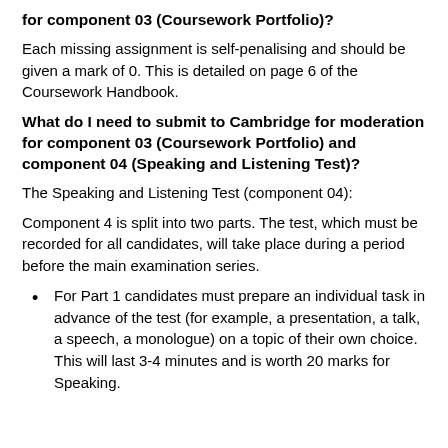for component 03 (Coursework Portfolio)?
Each missing assignment is self-penalising and should be given a mark of 0. This is detailed on page 6 of the Coursework Handbook.
What do I need to submit to Cambridge for moderation for component 03 (Coursework Portfolio) and component 04 (Speaking and Listening Test)?
The Speaking and Listening Test (component 04):
Component 4 is split into two parts. The test, which must be recorded for all candidates, will take place during a period before the main examination series.
For Part 1 candidates must prepare an individual task in advance of the test (for example, a presentation, a talk, a speech, a monologue) on a topic of their own choice. This will last 3-4 minutes and is worth 20 marks for Speaking.